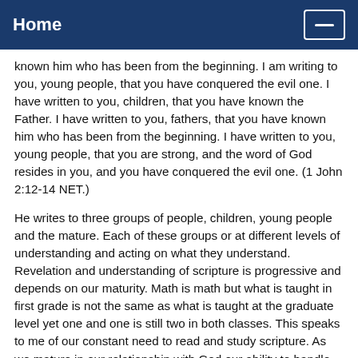Home
known him who has been from the beginning. I am writing to you, young people, that you have conquered the evil one. I have written to you, children, that you have known the Father. I have written to you, fathers, that you have known him who has been from the beginning. I have written to you, young people, that you are strong, and the word of God resides in you, and you have conquered the evil one. (1 John 2:12-14 NET.)
He writes to three groups of people, children, young people and the mature. Each of these groups or at different levels of understanding and acting on what they understand. Revelation and understanding of scripture is progressive and depends on our maturity. Math is math but what is taught in first grade is not the same as what is taught at the graduate level yet one and one is still two in both classes. This speaks to me of our constant need to read and study scripture. As we mature in our relationship with God our ability to handle revelation and our understanding deepens.
If we cease our systematic study of scripture because we have read it already, we will find ourselves uneducated and stunted in our growth. The Word of God is multilayered, multifaceted and